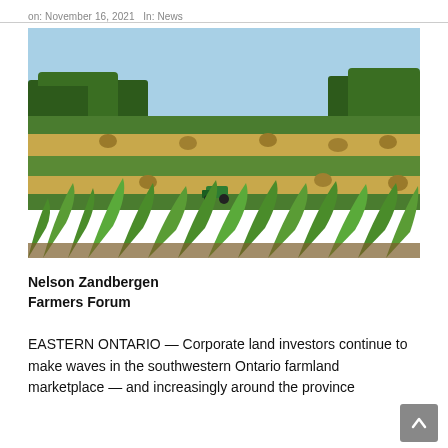on: November 16, 2021   In: News
[Figure (photo): Aerial view of Ontario farmland showing alternating strips of green crops and golden hay bales under a clear blue sky, with corn in the foreground and a tractor visible in the mid-ground.]
Nelson Zandbergen
Farmers Forum
EASTERN ONTARIO — Corporate land investors continue to make waves in the southwestern Ontario farmland marketplace — and increasingly around the province